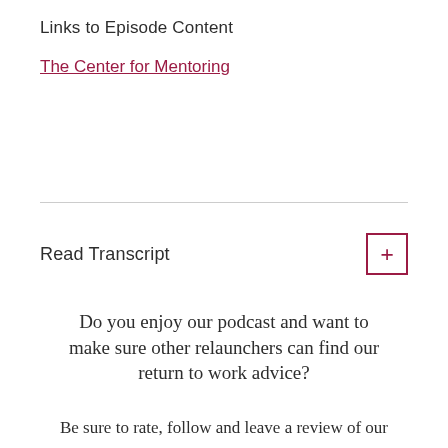Links to Episode Content
The Center for Mentoring
Read Transcript
Do you enjoy our podcast and want to make sure other relaunchers can find our return to work advice?
Be sure to rate, follow and leave a review of our